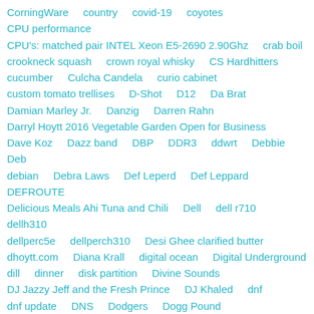CorningWare    country    covid-19    coyotes
CPU performance
CPU's: matched pair INTEL Xeon E5-2690 2.90Ghz    crab boil
crookneck squash    crown royal whisky    CS Hardhitters
cucumber    Culcha Candela    curio cabinet
custom tomato trellises    D-Shot    D12    Da Brat
Damian Marley Jr.    Danzig    Darren Rahn
Darryl Hoytt 2016 Vegetable Garden Open for Business
Dave Koz    Dazz band    DBP    DDR3    ddwrt    Debbie Deb
debian    Debra Laws    Def Leperd    Def Leppard    DEFROUTE
Delicious Meals Ahi Tuna and Chili    Dell    dell r710    dellh310
dellperc5e    dellperch310    Desi Ghee clarified butter
dhoytt.com    Diana Krall    digital ocean    Digital Underground
dill    dinner    disk partition    Divine Sounds
DJ Jazzy Jeff and the Fresh Prince    DJ Khaled    dnf
dnf update    DNS    Dodgers    Dogg Pound
Doing it Big with Late Wild Saturday Night…… in My Computer Room
Doja    Doja Cat    Domo Genesis